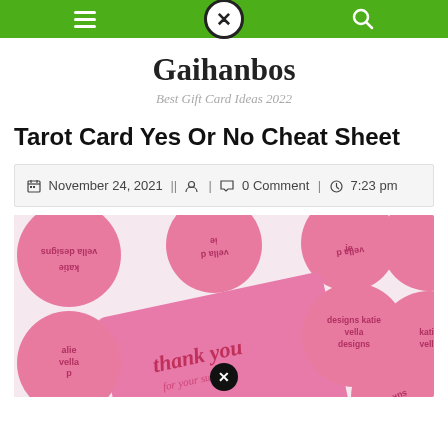Gaihanbos — Best Gift Card Ideas 2022 (navigation bar)
Gaihanbos
Best Gift Card Ideas 2022
Tarot Card Yes Or No Cheat Sheet
November 24, 2021 | | 0 Comment | 7:23 pm
[Figure (photo): Pink circular stickers reading 'katie vella designs' arranged on a white surface, with a pink thank you card in the foreground saying 'thank you for your support']